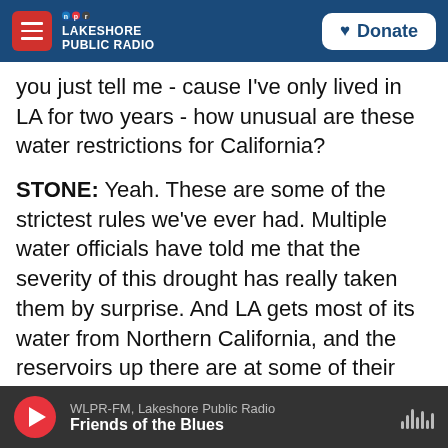NPR Lakeshore Public Radio | Donate
you just tell me - cause I've only lived in LA for two years - how unusual are these water restrictions for California?
STONE: Yeah. These are some of the strictest rules we've ever had. Multiple water officials have told me that the severity of this drought has really taken them by surprise. And LA gets most of its water from Northern California, and the reservoirs up there are at some of their lowest levels in history.
CHANG: So what happens if someone violates these rules? What happens to them?
WLPR-FM, Lakeshore Public Radio | Friends of the Blues